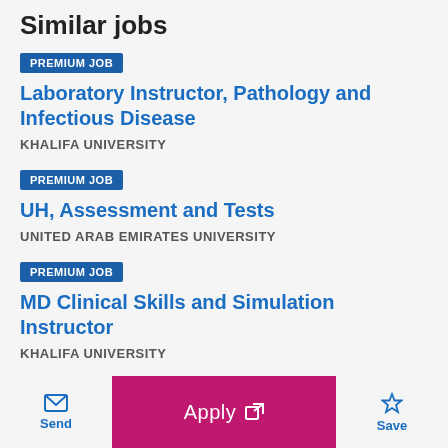Similar jobs
PREMIUM JOB — Laboratory Instructor, Pathology and Infectious Disease — KHALIFA UNIVERSITY
PREMIUM JOB — UH, Assessment and Tests — UNITED ARAB EMIRATES UNIVERSITY
PREMIUM JOB — MD Clinical Skills and Simulation Instructor — KHALIFA UNIVERSITY